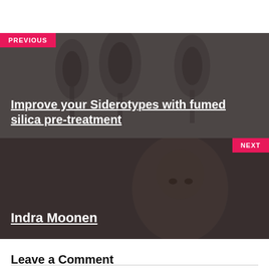[Figure (photo): Navigation block with 'PREVIOUS' label in pink/red badge, dark overlay on wine glasses photo background, with bold white underlined title text]
PREVIOUS
Improve your Siderotypes with fumed silica pre-treatment
[Figure (photo): Navigation block with 'NEXT' label in pink/red badge, dark overlay on portrait photo background, with bold white underlined title text]
NEXT
Indra Moonen
Leave a Comment